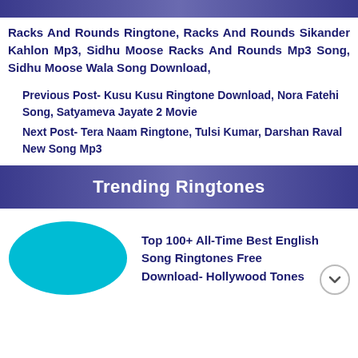Post Tags
Racks And Rounds Ringtone, Racks And Rounds Sikander Kahlon Mp3, Sidhu Moose Racks And Rounds Mp3 Song, Sidhu Moose Wala Song Download,
Previous Post- Kusu Kusu Ringtone Download, Nora Fatehi Song, Satyameva Jayate 2 Movie
Next Post- Tera Naam Ringtone, Tulsi Kumar, Darshan Raval New Song Mp3
Trending Ringtones
Top 100+ All-Time Best English Song Ringtones Free Download- Hollywood Tones